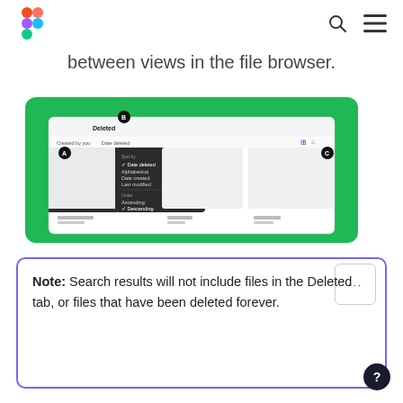Figma logo, search icon, hamburger menu
between views in the file browser.
[Figure (screenshot): Screenshot of the Figma file browser showing the Deleted tab with a sort/filter dropdown menu open, displaying options like Sort by, Date deleted, Alphabetical, Date created, Last modified, Order: Ascending, Descending. Annotated with circles A, B, C.]
Note: Search results will not include files in the Deleted tab, or files that have been deleted forever.